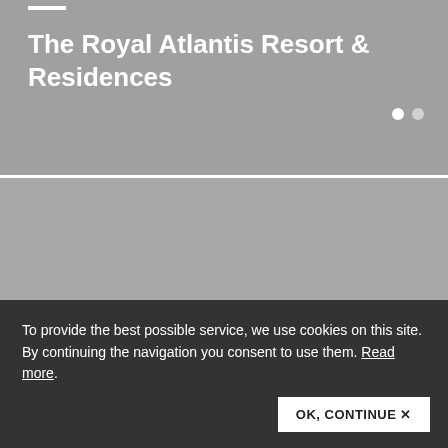[Figure (screenshot): Gray banner with white bold text 'The Royal Atlantis Resort & Residences' and two white circle navigation dots]
[Figure (screenshot): Gray banner area with white bold text 'Download Area' at bottom left]
Latest news
To provide the best possible service, we use cookies on this site. By continuing the navigation you consent to use them. Read more.